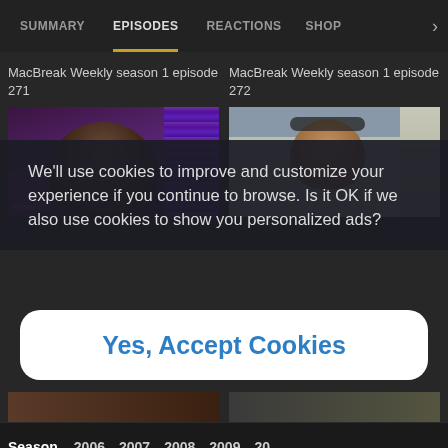SUMMARY  EPISODES  REACTIONS  SHOP
MacBreak Weekly season 1 episode 271
MacBreak Weekly season 1 episode 272
[Figure (screenshot): Thumbnail of MacBreak Weekly episode 271 showing a man's face with purple curtains in background]
[Figure (screenshot): Thumbnail of MacBreak Weekly episode 272 showing a woman with headphones in a light-colored room]
We'll use cookies to improve and customize your experience if you continue to browse. Is it OK if we also use cookies to show you personalized ads?
Yes, Accept Cookies
[Figure (screenshot): Bottom strip of partially visible episode thumbnails]
Season 2006  2007  2008  2009  20